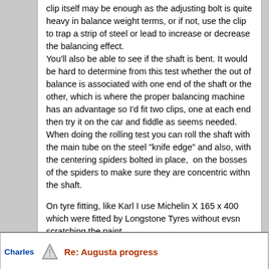clip itself may be enough as the adjusting bolt is quite heavy in balance weight terms, or if not, use the clip to trap a strip of steel or lead to increase or decrease the balancing effect.
You'll also be able to see if the shaft is bent. It would be hard to determine from this test whether the out of balance is associated with one end of the shaft or the other, which is where the proper balancing machine has an advantage so I'd fit two clips, one at each end then try it on the car and fiddle as seems needed. When doing the rolling test you can roll the shaft with the main tube on the steel "knife edge" and also, with the centering spiders bolted in place, on the bosses of the spiders to make sure they are concentric withn the shaft.

On tyre fitting, like Karl I use Michelin X 165 x 400 which were fitted by Longstone Tyres without evsn scratching the paint.

Mike
« Last Edit: 29 April, 2021, 08:29:06 PM by Mikenoangelo »
Logged
Charles
Re: Augusta progress